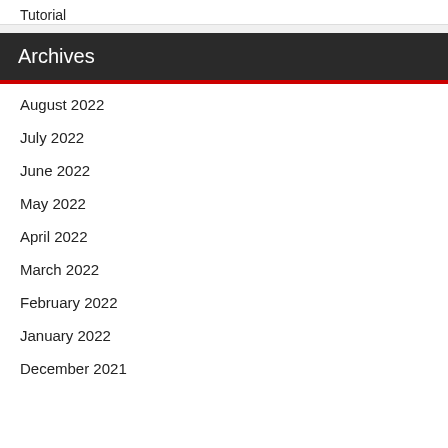Tutorial
Archives
August 2022
July 2022
June 2022
May 2022
April 2022
March 2022
February 2022
January 2022
December 2021